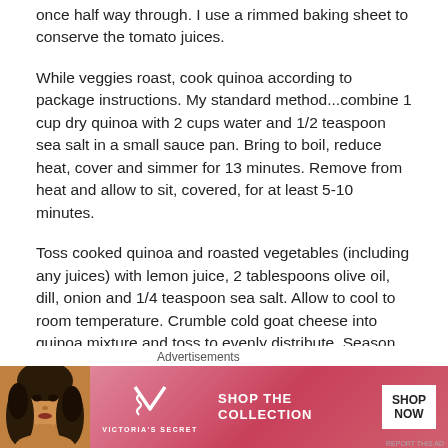once half way through. I use a rimmed baking sheet to conserve the tomato juices.
While veggies roast, cook quinoa according to package instructions. My standard method...combine 1 cup dry quinoa with 2 cups water and 1/2 teaspoon sea salt in a small sauce pan. Bring to boil, reduce heat, cover and simmer for 13 minutes. Remove from heat and allow to sit, covered, for at least 5-10 minutes.
Toss cooked quinoa and roasted vegetables (including any juices) with lemon juice, 2 tablespoons olive oil, dill, onion and 1/4 teaspoon sea salt. Allow to cool to room temperature. Crumble cold goat cheese into quinoa mixture and toss to evenly distribute. Season with lemon juice and salt to taste. Enjoy cold or at room temperature.
Advertisements
[Figure (infographic): Victoria's Secret advertisement banner with a model, VS logo, 'SHOP THE COLLECTION' text and 'SHOP NOW' button on a pink/red gradient background.]